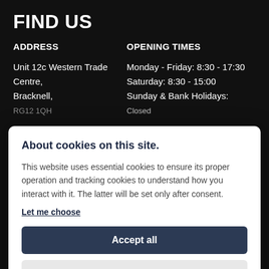FIND US
ADDRESS
OPENING TIMES
Unit 12c Western Trade Centre,
Bracknell,
Monday - Friday: 8:30 - 17:30
Saturday: 8:30 - 15:00
Sunday & Bank Holidays:
About cookies on this site.
This website uses essential cookies to ensure its proper operation and tracking cookies to understand how you interact with it. The latter will be set only after consent.
Let me choose
Accept all
Reject all
© Copyright 2022 CSS Bikes. All rights reserved